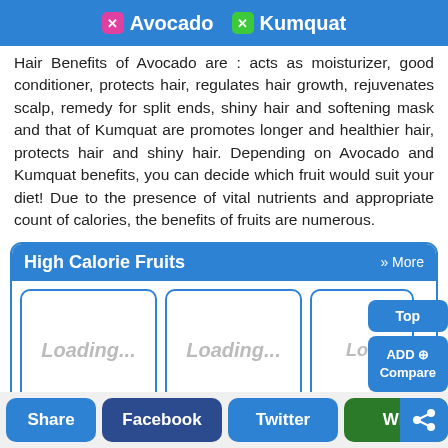Avocado  Kumquat
Hair Benefits of Avocado are : acts as moisturizer, good conditioner, protects hair, regulates hair growth, rejuvenates scalp, remedy for split ends, shiny hair and softening mask and that of Kumquat are promotes longer and healthier hair, protects hair and shiny hair. Depending on Avocado and Kumquat benefits, you can decide which fruit would suit your diet! Due to the presence of vital nutrients and appropriate count of calories, the benefits of fruits are numerous.
High Calorie Fruits  » More
[Figure (screenshot): Three loading cards side by side with 'Loading...' text, each with a blue border and rounded corners, inside a 'High Calorie Fruits' section box.]
Share  Facebook  Twitter  Wh<